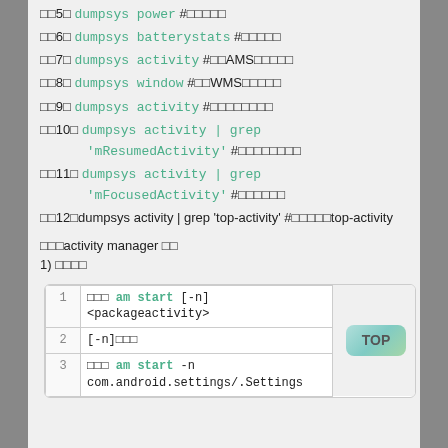□□5□ dumpsys power #□□□□□
□□6□ dumpsys batterystats #□□□□□
□□7□ dumpsys activity #□□AMS□□□□□
□□8□ dumpsys window #□□WMS□□□□□
□□9□ dumpsys activity #□□□□□□□□
□□10□ dumpsys activity | grep 'mResumedActivity' #□□□□□□□□
□□11□ dumpsys activity | grep 'mFocusedActivity' #□□□□□□
□□12□dumpsys activity | grep 'top-activity' #□□□□□top-activity
□□□activity manager □□
1) □□□□
| # | code |
| --- | --- |
| 1 | □□□ am start [-n] <packageactivity> |
| 2 | [-n]□□□ |
| 3 | □□□ am start -n com.android.settings/.Settings |